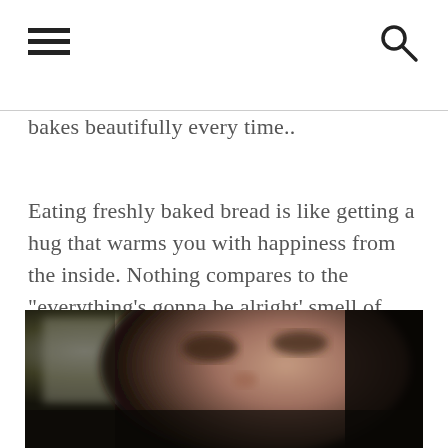bakes beautifully every time..
Eating freshly baked bread is like getting a hug that warms you with happiness from the inside. Nothing compares to the "everything's gonna be alright' smell of freshly baked bread.
[Figure (photo): A blurry close-up photo of a person's face, showing their forehead and closed or downward-looking eyes, in a dark background with some light in the upper left.]